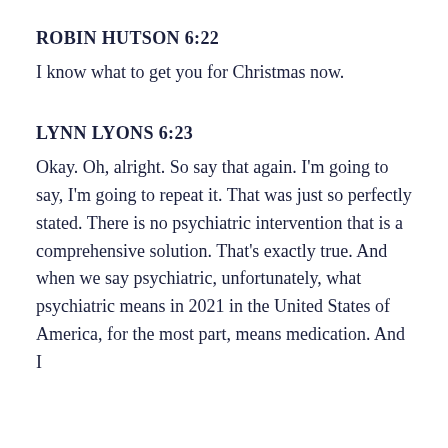ROBIN HUTSON 6:22
I know what to get you for Christmas now.
LYNN LYONS 6:23
Okay. Oh, alright. So say that again. I'm going to say, I'm going to repeat it. That was just so perfectly stated. There is no psychiatric intervention that is a comprehensive solution. That's exactly true. And when we say psychiatric, unfortunately, what psychiatric means in 2021 in the United States of America, for the most part, means medication. And I